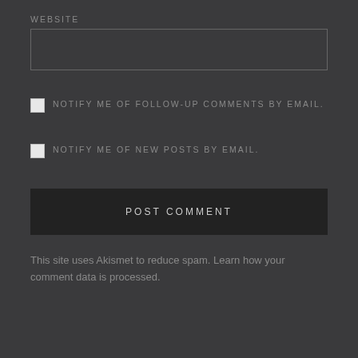WEBSITE
[Figure (other): Website input text field, empty, dark background with border]
NOTIFY ME OF FOLLOW-UP COMMENTS BY EMAIL.
NOTIFY ME OF NEW POSTS BY EMAIL.
POST COMMENT
This site uses Akismet to reduce spam. Learn how your comment data is processed.